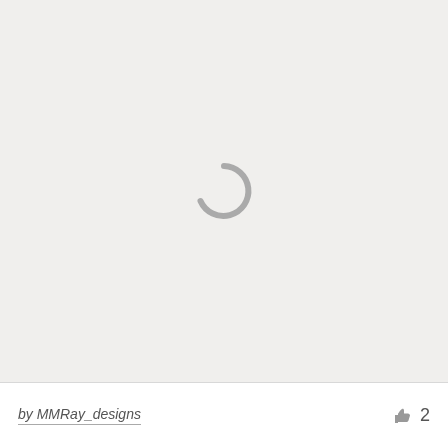[Figure (illustration): Loading spinner icon (partial circle arc) centered in a light gray background area]
by MMRay_designs   👍 2